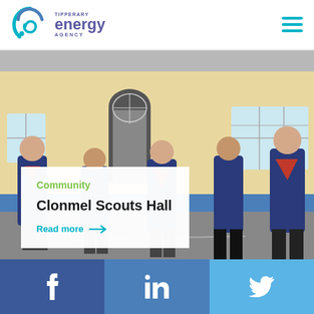Tipperary Energy Agency
[Figure (photo): Five men in scout uniforms with red neckerchiefs standing in front of a building with yellow/cream walls, an arched doorway, and windows]
Community
Clonmel Scouts Hall
Read more →
Facebook | LinkedIn | Twitter